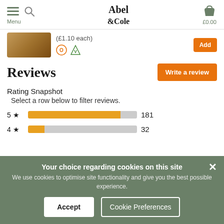Abel & Cole | Menu | £0.00
(£1.10 each)
Reviews
Rating Snapshot
Select a row below to filter reviews.
[Figure (bar-chart): Rating Snapshot]
Your choice regarding cookies on this site
We use cookies to optimise site functionality and give you the best possible experience.